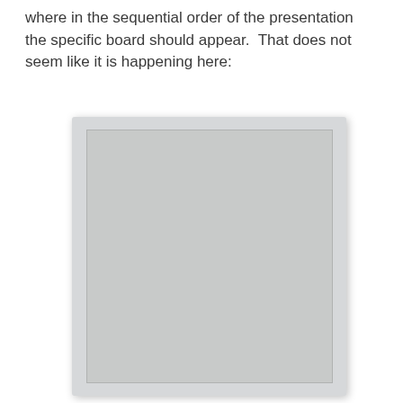where in the sequential order of the presentation the specific board should appear.  That does not seem like it is happening here:
[Figure (photo): A blank or nearly blank whiteboard or board surface, shown as a photograph with a white border/frame and slight shadow, appearing largely empty with a very light gray/off-white tone.]